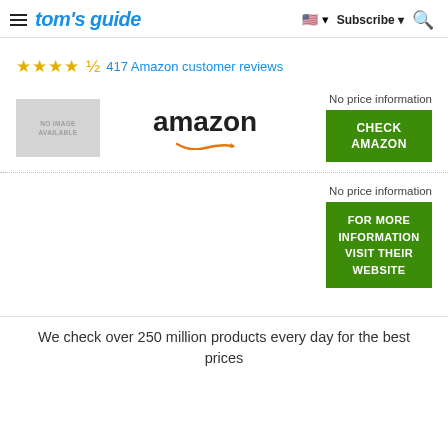tom's guide | Subscribe
★★★★½ 417 Amazon customer reviews
[Figure (logo): No image available placeholder box next to Amazon logo with arrow]
No price information
CHECK AMAZON
No price information
FOR MORE INFORMATION VISIT THEIR WEBSITE
We check over 250 million products every day for the best prices